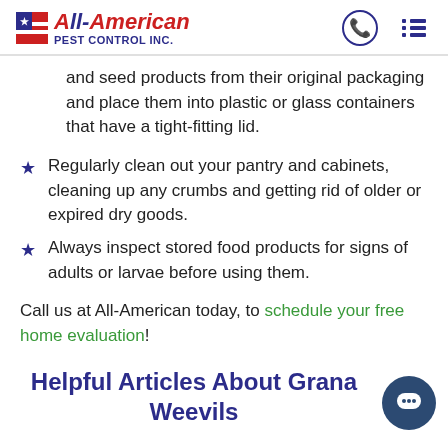All-American Pest Control Inc.
and seed products from their original packaging and place them into plastic or glass containers that have a tight-fitting lid.
Regularly clean out your pantry and cabinets, cleaning up any crumbs and getting rid of older or expired dry goods.
Always inspect stored food products for signs of adults or larvae before using them.
Call us at All-American today, to schedule your free home evaluation!
Helpful Articles About Granary Weevils